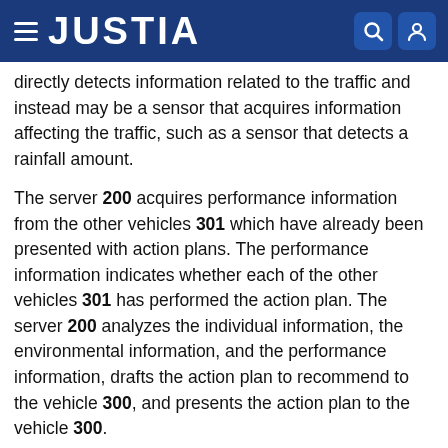JUSTIA
directly detects information related to the traffic and instead may be a sensor that acquires information affecting the traffic, such as a sensor that detects a rainfall amount.
The server 200 acquires performance information from the other vehicles 301 which have already been presented with action plans. The performance information indicates whether each of the other vehicles 301 has performed the action plan. The server 200 analyzes the individual information, the environmental information, and the performance information, drafts the action plan to recommend to the vehicle 300, and presents the action plan to the vehicle 300.
FIG. 2 is a view showing a configuration of the server 200. A processing unit 210 is, for example, an MPU. The processing unit 210 executes control on the server 200